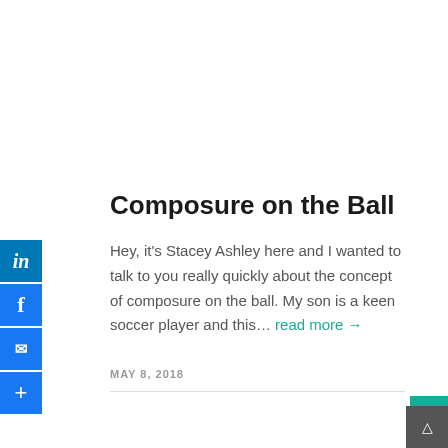[Figure (infographic): Social media share buttons: LinkedIn, Facebook, Email, and Add/Share buttons stacked vertically on the left side]
[Figure (infographic): Vertical teal 'BOOK STACEY' tab on the right edge]
Composure on the Ball
Hey, it’s Stacey Ashley here and I wanted to talk to you really quickly about the concept of composure on the ball. My son is a keen soccer player and this... read more →
MAY 8, 2018